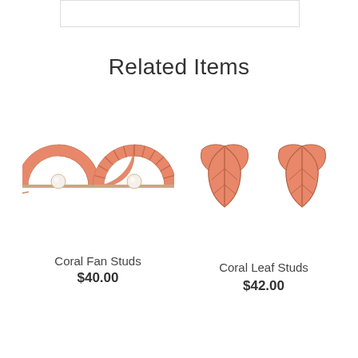Related Items
[Figure (photo): Two coral-colored fan-shaped stud earrings with gold lines and white pearl center, photographed on white background]
Coral Fan Studs
$40.00
[Figure (photo): Two coral-colored leaf-shaped stud earrings with gold vein lines, photographed on white background]
Coral Leaf Studs
$42.00